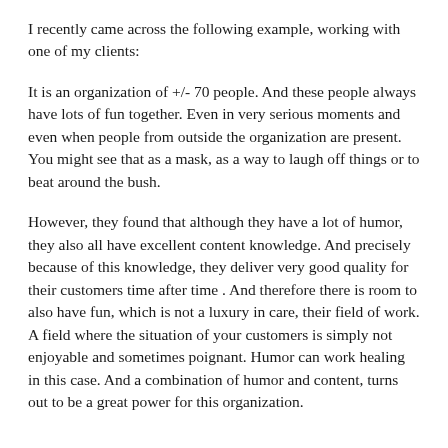I recently came across the following example, working with one of my clients:
It is an organization of +/- 70 people. And these people always have lots of fun together. Even in very serious moments and even when people from outside the organization are present. You might see that as a mask, as a way to laugh off things or to beat around the bush.
However, they found that although they have a lot of humor, they also all have excellent content knowledge. And precisely because of this knowledge, they deliver very good quality for their customers time after time . And therefore there is room to also have fun, which is not a luxury in care, their field of work. A field where the situation of your customers is simply not enjoyable and sometimes poignant. Humor can work healing in this case. And a combination of humor and content, turns out to be a great power for this organization.